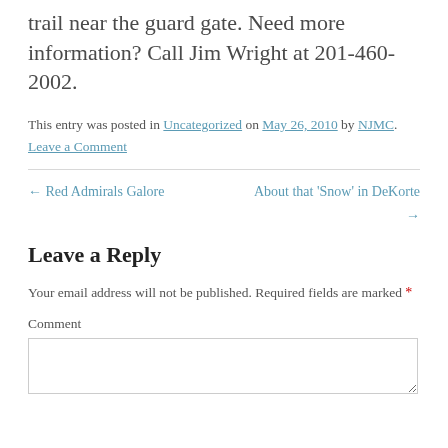trail near the guard gate. Need more information? Call Jim Wright at 201-460-2002.
This entry was posted in Uncategorized on May 26, 2010 by NJMC. Leave a Comment
← Red Admirals Galore
About that 'Snow' in DeKorte →
Leave a Reply
Your email address will not be published. Required fields are marked *
Comment